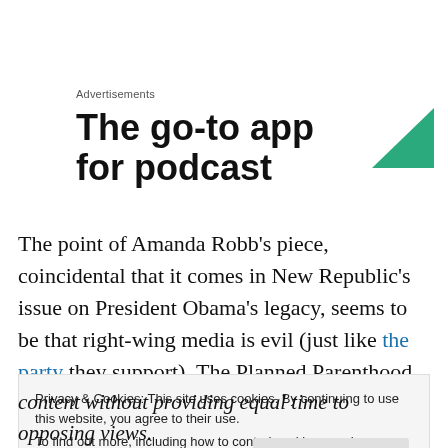Advertisements
[Figure (screenshot): Advertisement showing bold text 'The go-to app for podcast' with a green triangle icon in the top right]
The point of Amanda Robb's piece, coincidental that it comes in New Republic's issue on President Obama's legacy, seems to be that right-wing media is evil (just like the party they support). The Planned Parenthood shooter
Privacy & Cookies: This site uses cookies. By continuing to use this website, you agree to their use.
To find out more, including how to control cookies, see here: Cookie Policy
content without providing equal time to opposing views.